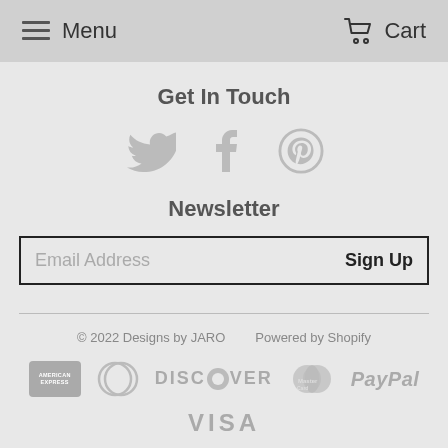Menu   Cart
Get In Touch
[Figure (illustration): Social media icons: Twitter bird, Facebook f, Pinterest p]
Newsletter
Email Address   Sign Up
© 2022 Designs by JARO   Powered by Shopify
[Figure (illustration): Payment method icons: American Express, Diners Club, Discover, Mastercard, PayPal, Visa]